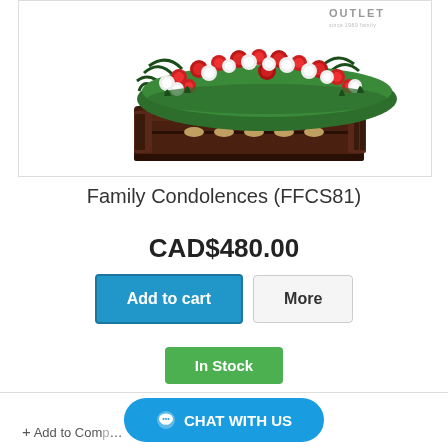[Figure (photo): A dark mahogany casket with a large floral arrangement of red and white roses with green foliage on top. OUTLET watermark visible in upper right. White background product photo.]
Family Condolences (FFCS81)
CAD$480.00
Add to cart
More
In Stock
CHAT WITH US
+ Add to Compare